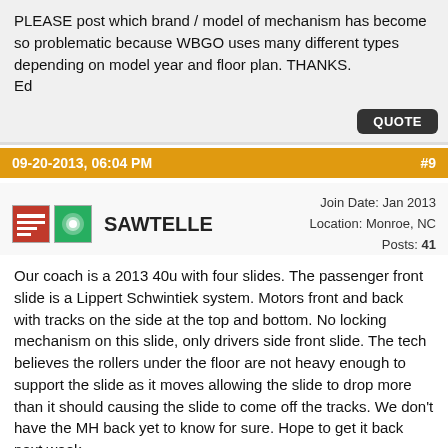PLEASE post which brand / model of mechanism has become so problematic because WBGO uses many different types depending on model year and floor plan. THANKS.
Ed
QUOTE
09-20-2013, 06:04 PM   #9
SAWTELLE   Join Date: Jan 2013   Location: Monroe, NC   Posts: 41
Our coach is a 2013 40u with four slides. The passenger front slide is a Lippert Schwintiek system. Motors front and back with tracks on the side at the top and bottom. No locking mechanism on this slide, only drivers side front slide. The tech believes the rollers under the floor are not heavy enough to support the slide as it moves allowing the slide to drop more than it should causing the slide to come off the tracks. We don't have the MH back yet to know for sure. Hope to get it back next week.
QUOTE